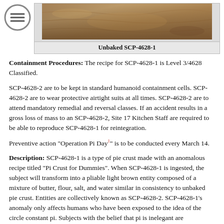[Figure (photo): Photo of unbaked pie crust dough, light brown color, close-up texture view]
Unbaked SCP-4628-1
Containment Procedures: The recipe for SCP-4628-1 is Level 3/4628 Classified.
SCP-4628-2 are to be kept in standard humanoid containment cells. SCP-4628-2 are to wear protective airtight suits at all times. SCP-4628-2 are to attend mandatory remedial and reversal classes. If an accident results in a gross loss of mass to an SCP-4628-2, Site 17 Kitchen Staff are required to be able to reproduce SCP-4628-1 for reintegration.
Preventive action "Operation Pi Day" is to be conducted every March 14.
Description: SCP-4628-1 is a type of pie crust made with an anomalous recipe titled “Pi Crust for Dummies”. When SCP-4628-1 is ingested, the subject will transform into a pliable light brown entity composed of a mixture of butter, flour, salt, and water similar in consistency to unbaked pie crust. Entities are collectively known as SCP-4628-2. SCP-4628-1’s anomaly only affects humans who have been exposed to the idea of the circle constant pi. Subjects with the belief that pi is inelegant are unaffected. SCP-4628-1’s effects are reversible. See Document #: 4628-A1 Reversal Procedure.
SCP-4628-2 retain sapience, speech, and the mass of their original person. SCP-4628-2 do not need to perform any human bodily functions. SCP-4628-2 exposed to the air for long periods of time show signs of staleness associated with pie dough and air exposure. Extended exposure may result in loss of